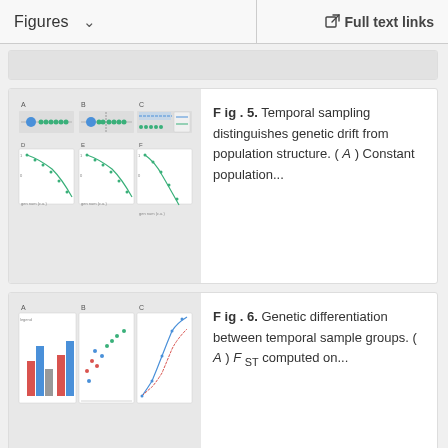Figures    ∨    Full text links
[Figure (continuous-plot): Truncated top card placeholder (grey area)]
[Figure (continuous-plot): Fig. 5 thumbnail: six panels showing temporal sampling distinguishing genetic drift from population structure — scatter and line plots with blue/green dots]
F ig . 5. Temporal sampling distinguishes genetic drift from population structure. ( A ) Constant population...
[Figure (continuous-plot): Fig. 6 thumbnail: three panels showing genetic differentiation between temporal sample groups — bar charts, scatter plots with colored data points]
F ig . 6. Genetic differentiation between temporal sample groups. ( A ) F ST computed on...